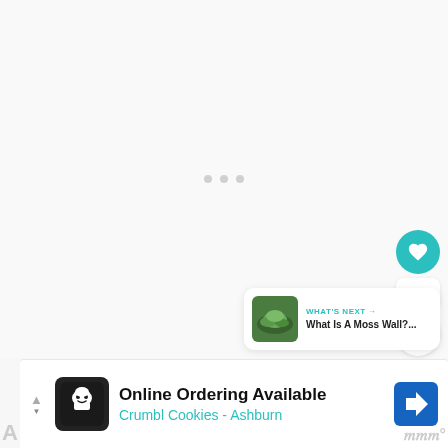[Figure (screenshot): Loading state of a webpage with three grey dots centered in a light grey area]
[Figure (infographic): Heart/like button (teal circle with white heart icon), count bubble showing 8, and share button (white circle with share icon)]
[Figure (infographic): What's Next panel with thumbnail of moss and text: WHAT'S NEXT → What Is A Moss Wall?...]
[Figure (screenshot): Advertisement bar: Online Ordering Available, Crumbl Cookies - Ashburn, with logo and navigation arrow icon]